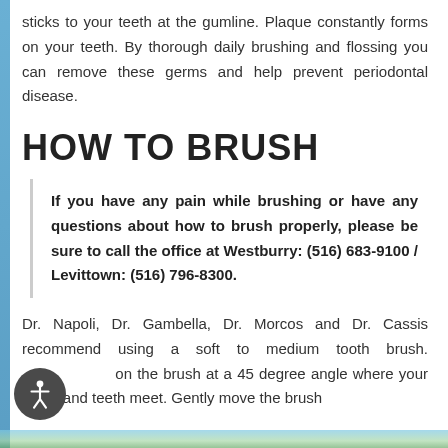sticks to your teeth at the gumline. Plaque constantly forms on your teeth. By thorough daily brushing and flossing you can remove these germs and help prevent periodontal disease.
HOW TO BRUSH
If you have any pain while brushing or have any questions about how to brush properly, please be sure to call the office at Westburry: (516) 683-9100 / Levittown: (516) 796-8300.
Dr. Napoli, Dr. Gambella, Dr. Morcos and Dr. Cassis recommend using a soft to medium tooth brush. Position the brush at a 45 degree angle where your gums and teeth meet. Gently move the brush